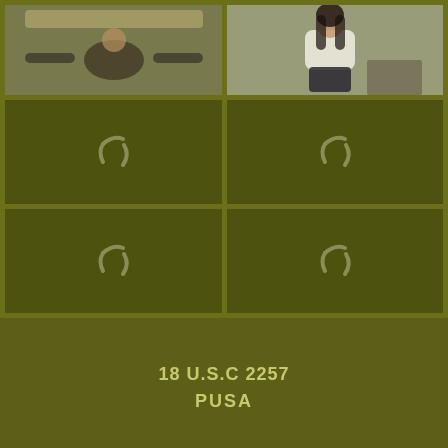[Figure (photo): Top-left photo: person lying on bed with legs up, wearing dark clothing, viewed from above/upside-down angle]
[Figure (photo): Top-right photo: young woman with long dark hair wearing white top and dark pants, smiling, seated]
[Figure (photo): Middle-left: loading placeholder with spinner icon on dark olive green background]
[Figure (photo): Middle-right: loading placeholder with spinner icon on dark olive green background]
[Figure (photo): Bottom-left: loading placeholder with spinner icon on dark olive green background]
[Figure (photo): Bottom-right: loading placeholder with spinner icon on dark olive green background]
18 U.S.C 2257
PUSA